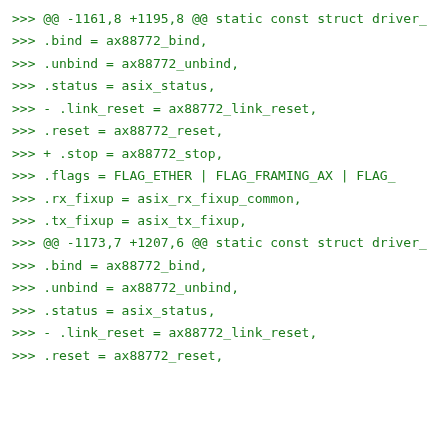>>> @@ -1161,8 +1195,8 @@ static const struct driver_
>>>       .bind = ax88772_bind,
>>>       .unbind = ax88772_unbind,
>>>       .status = asix_status,
>>> -     .link_reset = ax88772_link_reset,
>>>       .reset = ax88772_reset,
>>> +     .stop = ax88772_stop,
>>>       .flags = FLAG_ETHER | FLAG_FRAMING_AX | FLAG_
>>>       .rx_fixup = asix_rx_fixup_common,
>>>       .tx_fixup = asix_tx_fixup,
>>> @@ -1173,7 +1207,6 @@ static const struct driver_
>>>       .bind = ax88772_bind,
>>>       .unbind = ax88772_unbind,
>>>       .status = asix_status,
>>> -     .link_reset = ax88772_link_reset,
>>>       .reset = ax88772_reset,